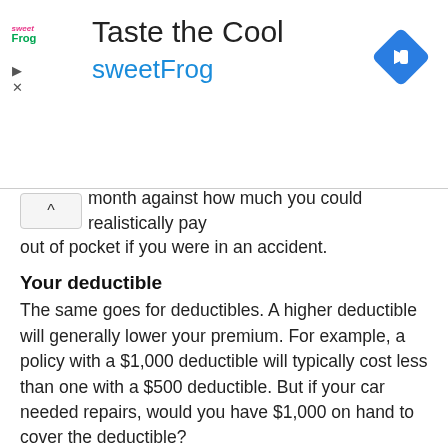[Figure (other): sweetFrog advertisement banner with logo, title 'Taste the Cool', brand name 'sweetFrog' in blue, navigation arrow icon in blue diamond shape, and play/close controls]
month against how much you could realistically pay out of pocket if you were in an accident.
Your deductible
The same goes for deductibles. A higher deductible will generally lower your premium. For example, a policy with a $1,000 deductible will typically cost less than one with a $500 deductible. But if your car needed repairs, would you have $1,000 on hand to cover the deductible?
What's next?
Take the time to figure out exactly the types of auto insurance — and how much — you need. Visit the website for your state's transportation agency or insurance